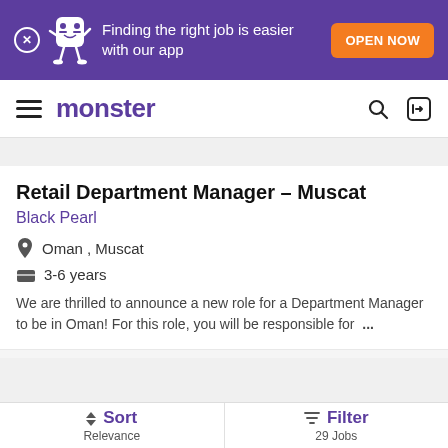[Figure (screenshot): Monster job board app banner ad showing mascot and 'Finding the right job is easier with our app' text with orange OPEN NOW button]
monster
Retail Department Manager – Muscat
Black Pearl
Oman , Muscat
3-6 years
We are thrilled to announce a new role for a Department Manager to be in Oman! For this role, you will be responsible for ...
Posted: 30 days ago |
Sort Relevance | Filter 29 Jobs